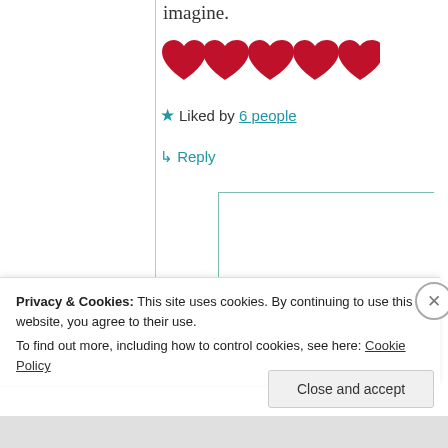imagine.
[Figure (other): Five red heart emoji symbols in a row]
★ Liked by 6 people
↳ Reply
[Figure (photo): Circular user avatar showing a wolf and moon illustration]
Wolf M
Privacy & Cookies: This site uses cookies. By continuing to use this website, you agree to their use. To find out more, including how to control cookies, see here: Cookie Policy
Close and accept